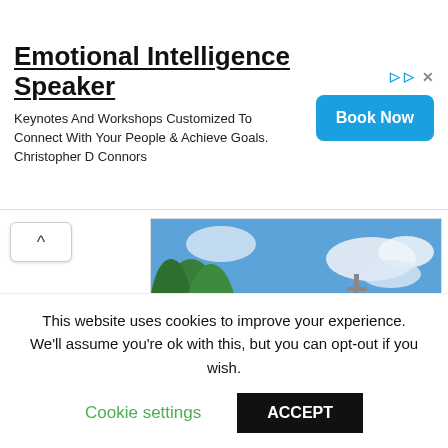[Figure (other): Advertisement banner for Emotional Intelligence Speaker — Christopher D Connors. Keynotes and Workshops. 'Book Now' button in blue.]
[Figure (photo): Photo of a golden equestrian statue of a figure on horseback on a white pedestal, with a red and white church building in the background and blue sky.]
View more on Instagram
This website uses cookies to improve your experience. We'll assume you're ok with this, but you can opt-out if you wish.